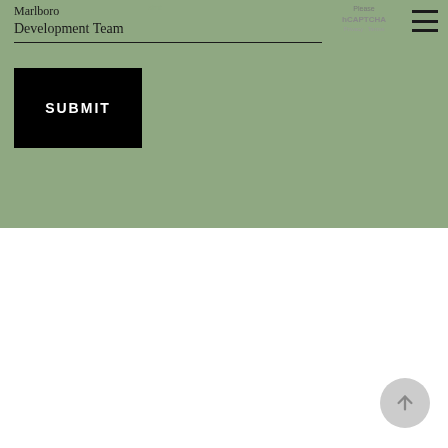Marlboro Development Team
[Figure (screenshot): CAPTCHA / hCAPTCHA privacy and terms notice in gray text]
[Figure (other): Hamburger menu icon (three horizontal lines)]
[Figure (other): Black submit button with white uppercase SUBMIT text]
[Figure (other): Back to top circular button with upward arrow at bottom right]